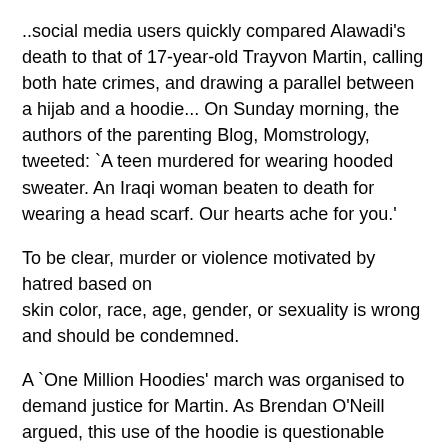..social media users quickly compared Alawadi’s death to that of 17-year-old Trayvon Martin, calling both hate crimes, and drawing a parallel between a hijab and a hoodie... On Sunday morning, the authors of the parenting Blog, Momstrology, tweeted: `A teen murdered for wearing hooded sweater. An Iraqi woman beaten to death for wearing a head scarf. Our hearts ache for you.’
To be clear, murder or violence motivated by hatred based on skin color, race, age, gender, or sexuality is wrong and should be condemned.
A `One Million Hoodies’ march was organised to demand justice for Martin. As Brendan O’Neill argued, this use of the hoodie is questionable enough. The wearing of `One million hijabs’ to show public solidarity and outrage at the murder of Alwadi? I cannot think of anything more ironic and